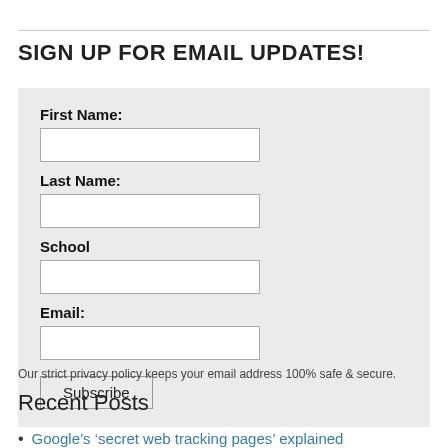SIGN UP FOR EMAIL UPDATES!
First Name:
Last Name:
School
Email:
Subscribe
Our strict privacy policy keeps your email address 100% safe & secure.
Recent Posts
Google’s ‘secret web tracking pages’ explained